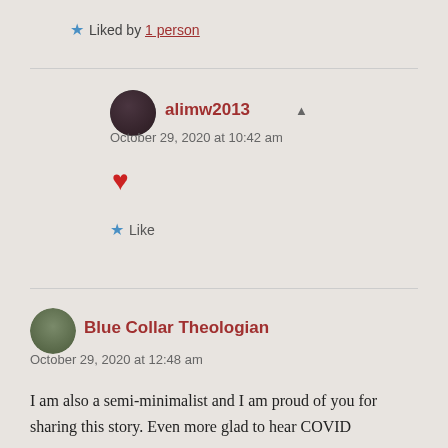Liked by 1 person
alimw2013
October 29, 2020 at 10:42 am
❤
Like
Blue Collar Theologian
October 29, 2020 at 12:48 am
I am also a semi-minimalist and I am proud of you for sharing this story. Even more glad to hear COVID